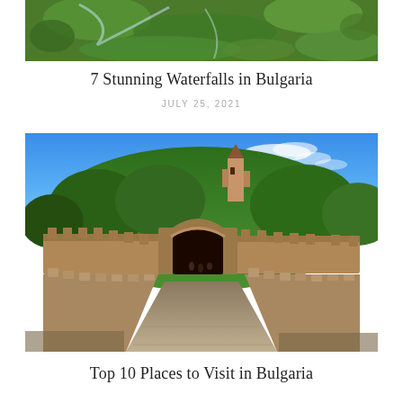[Figure (photo): Top portion of a photo showing green mossy rocks and flowing water — a waterfall scene in Bulgaria]
7 Stunning Waterfalls in Bulgaria
JULY 25, 2021
[Figure (photo): Photo of Tsarevets Fortress in Veliko Tarnovo, Bulgaria — a medieval stone castle on a lush green hill under a blue sky, with a cobblestone path leading through the main gate flanked by stone walls]
Top 10 Places to Visit in Bulgaria